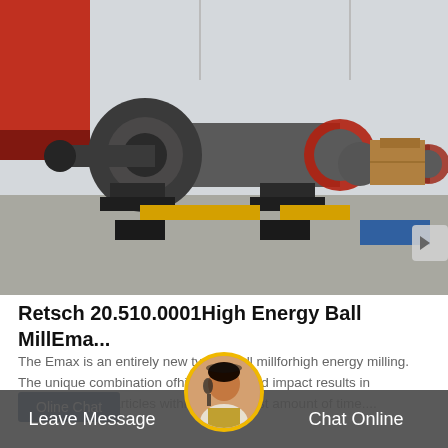[Figure (photo): Industrial ball mill machine in a large factory/warehouse setting. A large grey cylindrical grinding mill with a red ring gear, along with a smaller ball mill behind it. Yellow support beams, concrete floor, steel structure warehouse.]
Retsch 20.510.0001High Energy Ball MillEma...
The Emax is an entirely new type ofball millforhigh energy milling. The unique combination ofhighfriction and impact results in extremely fine particles within the shortest amount of time....
Oline Chat
Leave Message | Chat Online